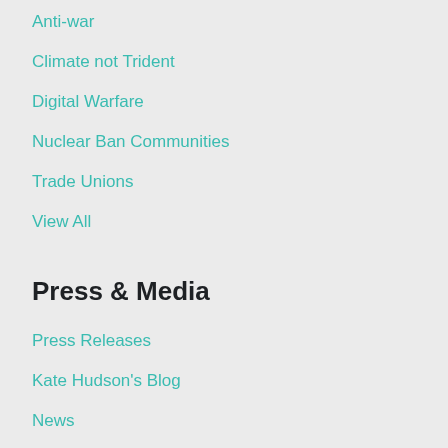Anti-war
Climate not Trident
Digital Warfare
Nuclear Ban Communities
Trade Unions
View All
Press & Media
Press Releases
Kate Hudson's Blog
News
Campaign Magazine
Spokespeople
CND 60th anniversary